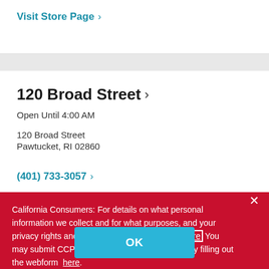Visit Store Page ›
120 Broad Street ›
Open Until 4:00 AM
120 Broad Street
Pawtucket, RI 02860
(401) 733-3057 ›
California Consumers: For details on what personal information we collect and for what purposes, and your privacy rights and how to exercise them, visit here You may submit CCPA-related requests to Wendy's by filling out the webform here.
OK